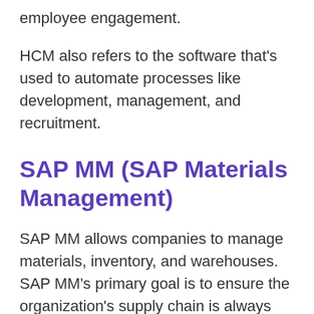employee engagement.
HCM also refers to the software that's used to automate processes like development, management, and recruitment.
SAP MM (SAP Materials Management)
SAP MM allows companies to manage materials, inventory, and warehouses. SAP MM's primary goal is to ensure the organization's supply chain is always stable by ensuring material is kept in proper quantities and without shortfalls or gaps